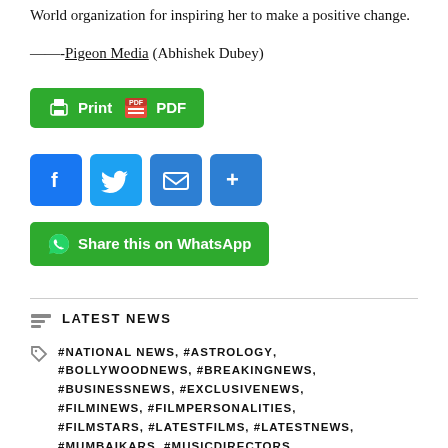World organization for inspiring her to make a positive change.
——-Pigeon Media (Abhishek Dubey)
[Figure (other): Print PDF button (green)]
[Figure (other): Social share buttons: Facebook, Twitter, Email, More]
[Figure (other): Share this on WhatsApp button (green)]
LATEST NEWS
#NATIONAL NEWS, #ASTROLOGY, #BOLLYWOODNEWS, #BREAKINGNEWS, #BUSINESSNEWS, #EXCLUSIVENEWS, #FILMINEWS, #FILMPERSONALITIES, #FILMSTARS, #LATESTFILMS, #LATESTNEWS, #MUMBAIKARS, #MUSICDIRECTORS,